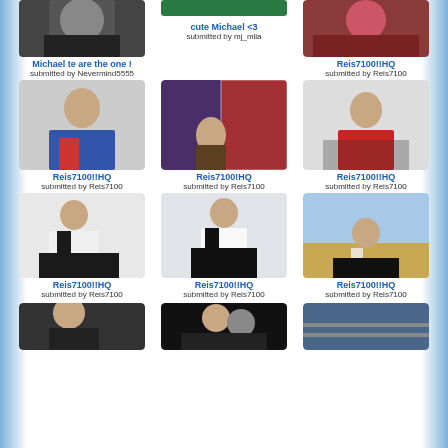[Figure (photo): Michael Jackson photo, cropped top]
Michael te are the one !
submitted by Nevermind5555
[Figure (photo): cute Michael with child photo]
cute Michael <3
submitted by mj_mila
[Figure (photo): Reis7100 HQ photo top right]
Reis7100!!HQ
submitted by Reis7100
[Figure (photo): Michael Jackson holding child in blue sweater]
Reis7100!!HQ
submitted by Reis7100
[Figure (photo): Michael Jackson with American flag at sunset]
Reis7100!HQ
submitted by Reis7100
[Figure (photo): Michael Jackson in red cape]
Reis7100!!HQ
submitted by Reis7100
[Figure (photo): Michael Jackson dancing in white tank top]
Reis7100!!HQ
submitted by Reis7100
[Figure (photo): Michael Jackson dancing pose white shirt]
Reis7100!!HQ
submitted by Reis7100
[Figure (photo): Michael Jackson outdoors desert white tank]
Reis7100!!HQ
submitted by Reis7100
[Figure (photo): Bottom row left photo partial]
[Figure (photo): Bottom row center photo partial]
[Figure (photo): Bottom row right photo partial]